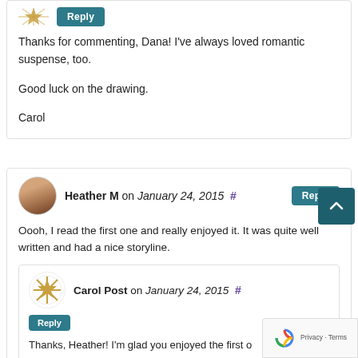[Figure (other): Gold star/snowflake avatar icon with Reply button]
Thanks for commenting, Dana! I've always loved romantic suspense, too.

Good luck on the drawing.

Carol
[Figure (photo): Circular avatar photo of Heather M, a woman smiling]
Heather M on January 24, 2015 # Reply
Oooh, I read the first one and really enjoyed it. It was quite well written and had a nice storyline.
[Figure (other): Gold star/snowflake avatar icon for Carol Post]
Carol Post on January 24, 2015 # Reply
Thanks, Heather! I'm glad you enjoyed the first o...